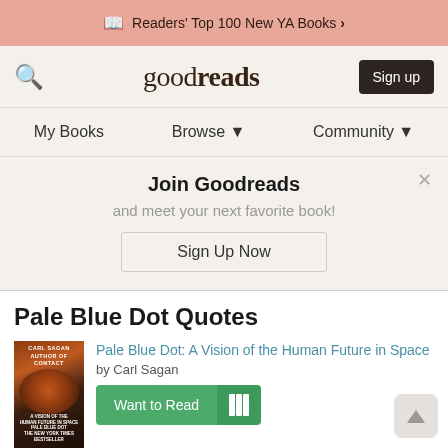📖 Readers' Top 100 New YA Books >
[Figure (logo): Goodreads logo with search icon and Sign up button]
My Books    Browse ▼    Community ▼
Join Goodreads
and meet your next favorite book!
Sign Up Now
Pale Blue Dot Quotes
[Figure (photo): Book cover of Pale Blue Dot by Carl Sagan]
Pale Blue Dot: A Vision of the Human Future in Space
by Carl Sagan
Want to Read